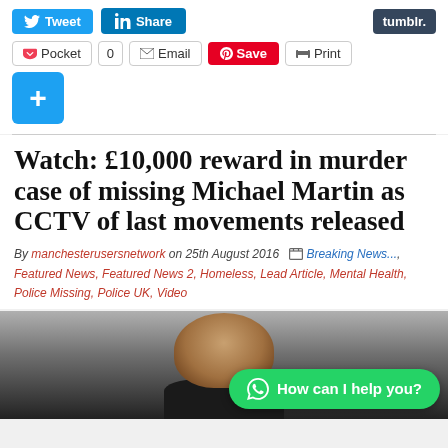[Figure (screenshot): Social sharing buttons row 1: Tweet (Twitter), Share (LinkedIn), tumblr]
[Figure (screenshot): Social sharing buttons row 2: Pocket with count 0, Email, Save (Pinterest), Print]
[Figure (screenshot): Blue plus button (add/more social shares)]
Watch: £10,000 reward in murder case of missing Michael Martin as CCTV of last movements released
By manchesterusersnetwork on 25th August 2016  Breaking News..., Featured News, Featured News 2, Homeless, Lead Article, Mental Health, Police Missing, Police UK, Video
[Figure (photo): Photo of Michael Martin (young male, dark hair, dark clothing), with WhatsApp 'How can I help you?' chat button overlaid]